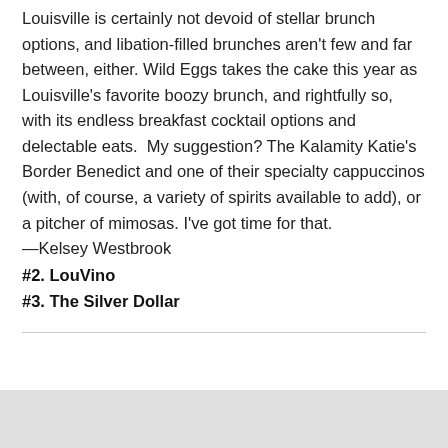Louisville is certainly not devoid of stellar brunch options, and libation-filled brunches aren't few and far between, either. Wild Eggs takes the cake this year as Louisville's favorite boozy brunch, and rightfully so, with its endless breakfast cocktail options and delectable eats.  My suggestion? The Kalamity Katie's Border Benedict and one of their specialty cappuccinos (with, of course, a variety of spirits available to add), or a pitcher of mimosas. I've got time for that.
—Kelsey Westbrook
#2. LouVino
#3. The Silver Dollar